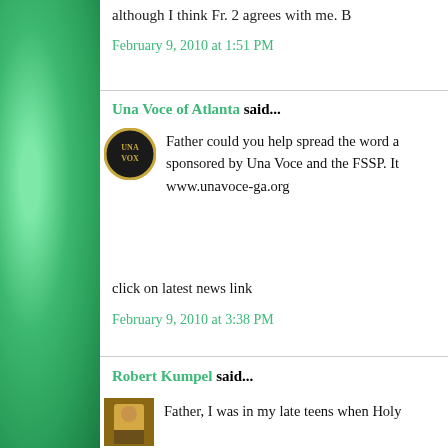although I think Fr. 2 agrees with me. B
February 9, 2010 at 1:51 PM
Una Voce of Atlanta said...
Father could you help spread the word a sponsored by Una Voce and the FSSP. It www.unavoce-ga.org
click on latest news link
February 9, 2010 at 3:38 PM
Robert Kumpel said...
Father, I was in my late teens when Holy